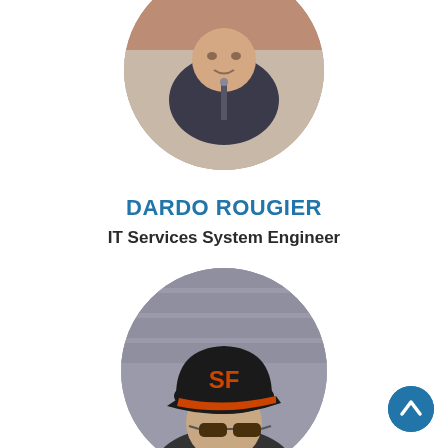[Figure (photo): Circular cropped headshot of Dardo Rougier, person wearing a dark jacket, upper portion of the image visible at the top of the page]
DARDO ROUGIER
IT Services System Engineer
[Figure (photo): Circular cropped photo of a person wearing a black San Francisco Giants baseball cap with orange SF logo and sunglasses, partially visible at the bottom of the page]
[Figure (other): Scroll-to-top button: circular dark blue button with upward chevron arrow, positioned bottom-right corner]